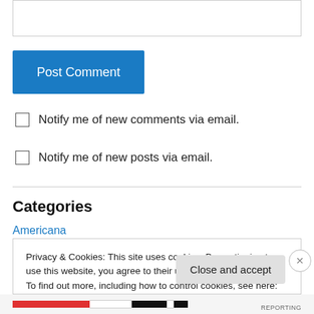[Figure (screenshot): Empty text input box at the top of the page]
Post Comment
Notify me of new comments via email.
Notify me of new posts via email.
Categories
Americana
Privacy & Cookies: This site uses cookies. By continuing to use this website, you agree to their use. To find out more, including how to control cookies, see here: Cookie Policy
Close and accept